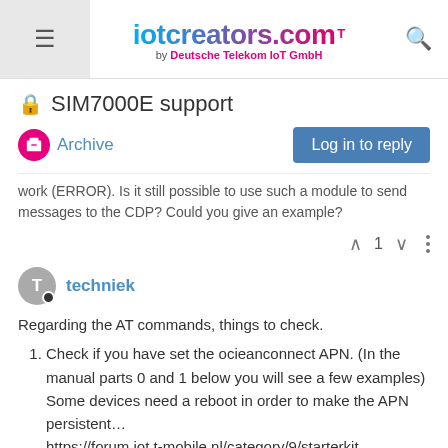iotcreators.com by Deutsche Telekom IoT GmbH
SIM7000E support
Archive  Log in to reply
work (ERROR). Is it still possible to use such a module to send messages to the CDP? Could you give an example?
techniek
Regarding the AT commands, things to check.
Check if you have set the ocieanconnect APN. (In the manual parts 0 and 1 below you will see a few examples) Some devices need a reboot in order to make the APN persistent… https://forum.iot.t-mobile.nl/category/9/starterkit
Scrambling, try to see if you can set it to FALSE…